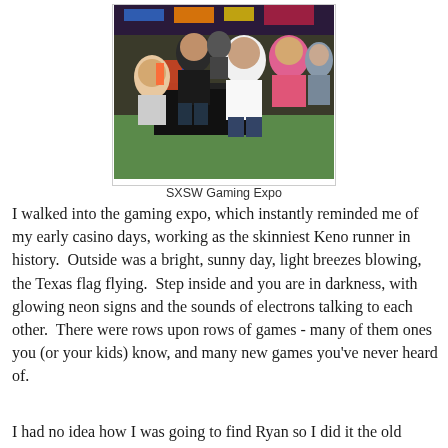[Figure (photo): Crowd of people at SXSW Gaming Expo on green carpet floor with neon lights and display tables]
SXSW Gaming Expo
I walked into the gaming expo, which instantly reminded me of my early casino days, working as the skinniest Keno runner in history.  Outside was a bright, sunny day, light breezes blowing, the Texas flag flying.  Step inside and you are in darkness, with glowing neon signs and the sounds of electrons talking to each other.  There were rows upon rows of games - many of them ones you (or your kids) know, and many new games you've never heard of.
I had no idea how I was going to find Ryan so I did it the old